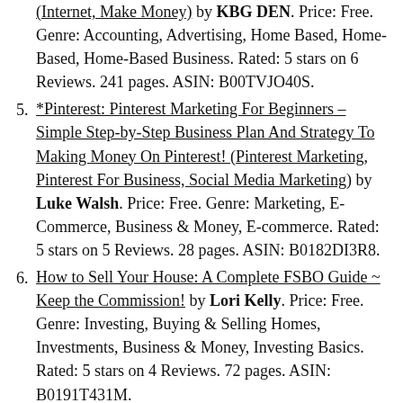(Internet, Make Money) by KBG DEN. Price: Free. Genre: Accounting, Advertising, Home Based, Home-Based, Home-Based Business. Rated: 5 stars on 6 Reviews. 241 pages. ASIN: B00TVJO40S.
5. *Pinterest: Pinterest Marketing For Beginners – Simple Step-by-Step Business Plan And Strategy To Making Money On Pinterest! (Pinterest Marketing, Pinterest For Business, Social Media Marketing) by Luke Walsh. Price: Free. Genre: Marketing, E-Commerce, Business & Money, E-commerce. Rated: 5 stars on 5 Reviews. 28 pages. ASIN: B0182DI3R8.
6. How to Sell Your House: A Complete FSBO Guide ~ Keep the Commission! by Lori Kelly. Price: Free. Genre: Investing, Buying & Selling Homes, Investments, Business & Money, Investing Basics. Rated: 5 stars on 4 Reviews. 72 pages. ASIN: B0191T431M.
7. Instagram: The Ultimate Guide to Instagram